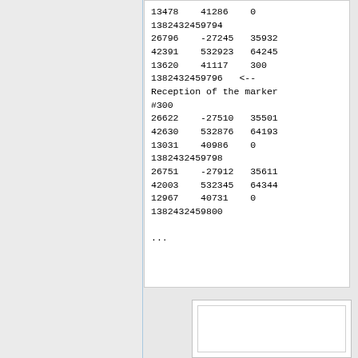13478    41286    0
1382432459794
26796    -27245   35932
42391    532923   64245
13620    41117    300
1382432459796   <--
Reception of the marker
#300
26622    -27510   35501
42630    532876   64193
13031    40986    0
1382432459798
26751    -27912   35611
42003    532345   64344
12967    40731    0
1382432459800
...
[Figure (other): Empty white box with inner white border, appears to be a placeholder image or figure]